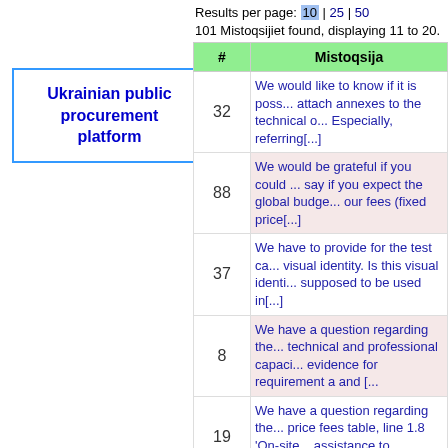Results per page: 10 | 25 | 50
101 Mistoqsijiet found, displaying 11 to 20.[R...]
[Figure (logo): Ukrainian public procurement platform logo box with blue border]
| # | Mistoqsija |
| --- | --- |
| 32 | We would like to know if it is poss... attach annexes to the technical o... Especially, referring[...] |
| 88 | We would be grateful if you could ... say if you expect the global budge... our fees (fixed price[...] |
| 37 | We have to provide for the test ca... visual identity. Is this visual identi... supposed to be used in[...] |
| 8 | We have a question regarding the... technical and professional capaci... evidence for requirement a and [... |
| 19 | We have a question regarding the... price fees table, line 1.8 'On-site... assistance to delegates and[...] |
| 51 | We have a question concerning s... costs. In particular, we understan... |